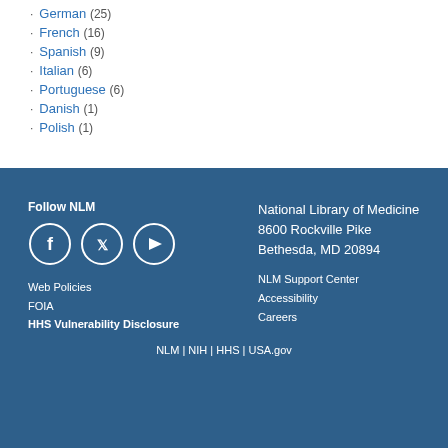German (25)
French (16)
Spanish (9)
Italian (6)
Portuguese (6)
Danish (1)
Polish (1)
Follow NLM
Web Policies
FOIA
HHS Vulnerability Disclosure
National Library of Medicine 8600 Rockville Pike Bethesda, MD 20894
NLM Support Center
Accessibility
Careers
NLM | NIH | HHS | USA.gov